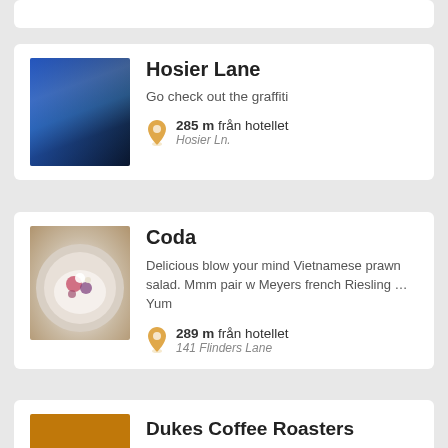[Figure (photo): Partial card stub at top, white background]
Hosier Lane
Go check out the graffiti
285 m från hotellet
Hosier Ln.
Coda
Delicious blow your mind Vietnamese prawn salad. Mmm pair w Meyers french Riesling … Yum
289 m från hotellet
141 Flinders Lane
Dukes Coffee Roasters